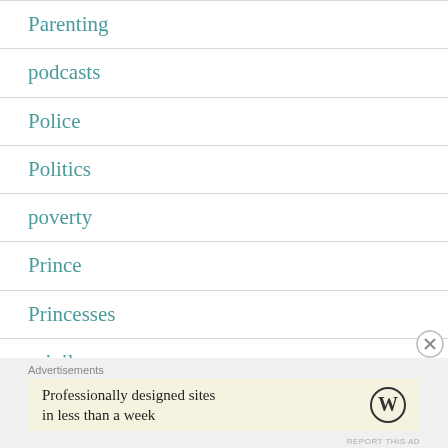Parenting
podcasts
Police
Politics
poverty
Prince
Princesses
privilege
Advertisements
Professionally designed sites in less than a week